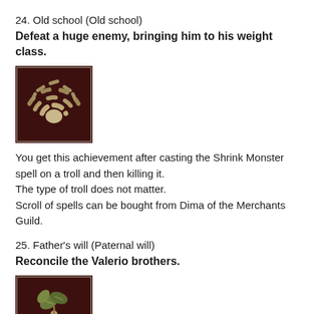24. Old school (Old school)
Defeat a huge enemy, bringing him to his weight class.
[Figure (illustration): Achievement icon: dark brown square with dashed arc pattern radiating outward from a central round shape, rendered in tan/gold tones on dark brown background.]
You get this achievement after casting the Shrink Monster spell on a troll and then killing it.
The type of troll does not matter.
Scroll of spells can be bought from Dima of the Merchants Guild.
25. Father's will (Paternal will)
Reconcile the Valerio brothers.
[Figure (illustration): Achievement icon: dark brown square with a bunch of grapes and leaves rendered in gold/tan tones on dark brown background, partially visible at bottom of page.]